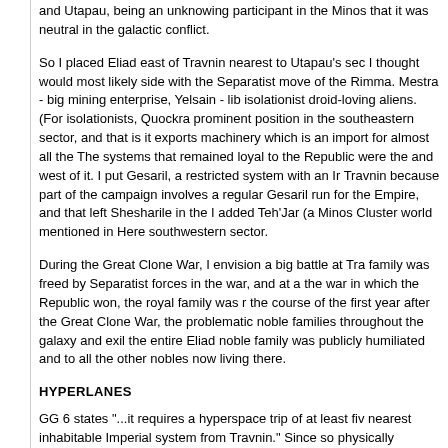and Utapau, being an unknowing participant in the Minos that it was neutral in the galactic conflict.
So I placed Eliad east of Travnin nearest to Utapau's sec I thought would most likely side with the Separatist move of the Rimma. Mestra - big mining enterprise, Yelsain - lib isolationist droid-loving aliens. (For isolationists, Quockra prominent position in the southeastern sector, and that is it exports machinery which is an import for almost all the The systems that remained loyal to the Republic were the and west of it. I put Gesaril, a restricted system with an Ir Travnin because part of the campaign involves a regular Gesaril run for the Empire, and that left Shesharile in the I added Teh'Jar (a Minos Cluster world mentioned in Here southwestern sector.
During the Great Clone War, I envision a big battle at Tra family was freed by Separatist forces in the war, and at a the war in which the Republic won, the royal family was r the course of the first year after the Great Clone War, the problematic noble families throughout the galaxy and exil the entire Eliad noble family was publicly humiliated and to all the other nobles now living there.
HYPERLANES
GG 6 states "...it requires a hyperspace trip of at least fiv nearest inhabitable Imperial system from Travnin." Since so physically removed from the rest of the Empire, I decie hyperlane that connects the Corlaasi-Travnin system to E the Elrood Sector. Even though Elrood is the "nearest inh Corlaasi-Travnin system, it would be faster and safer to g Rimma to Tantra then down the Coyn Route into the Elro this would be a perfect excuse to adapt the adventure Ri to the Minos-Elrood campaign I'm planning (as a way to t two sectors together), so part of the reason the journey ta of a part of the route where ships must drop to sublight fo reason it would ever be used instead of a faster and safe